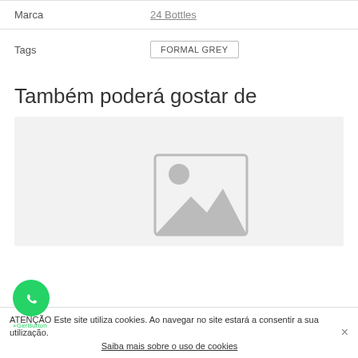Marca   24 Bottles
Tags   FORMAL GREY
Também poderá gostar de
[Figure (photo): Product placeholder image showing a grey image icon on a light grey background]
ATENÇÃO Este site utiliza cookies. Ao navegar no site estará a consentir a sua utilização. Saiba mais sobre o uso de cookies